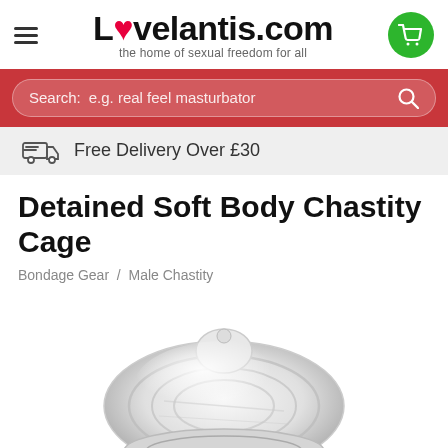Lovelantis.com – the home of sexual freedom for all
Search: e.g. real feel masturbator
Free Delivery Over £30
Detained Soft Body Chastity Cage
Bondage Gear / Male Chastity
[Figure (photo): Close-up photo of a clear/transparent soft body chastity cage product on a white background]